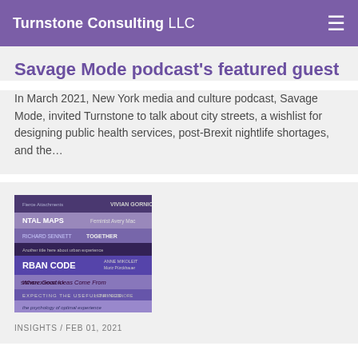Turnstone Consulting LLC
Savage Mode podcast's featured guest
In March 2021, New York media and culture podcast, Savage Mode, invited Turnstone to talk about city streets, a wishlist for designing public health services, post-Brexit nightlife shortages, and the…
[Figure (photo): Stack of books photographed from the side showing spines including titles such as 'MENTAL MAPS', 'URBAN CODE', and 'Where Good Ideas Come From']
INSIGHTS / FEB 01, 2021